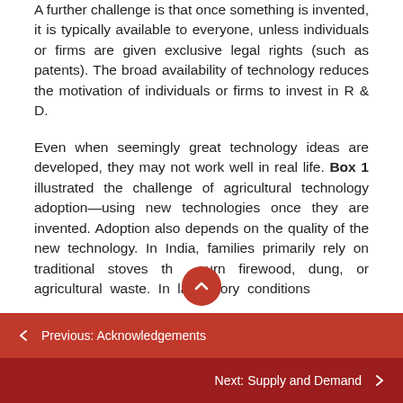A further challenge is that once something is invented, it is typically available to everyone, unless individuals or firms are given exclusive legal rights (such as patents). The broad availability of technology reduces the motivation of individuals or firms to invest in R & D.
Even when seemingly great technology ideas are developed, they may not work well in real life. Box 1 illustrated the challenge of agricultural technology adoption—using new technologies once they are invented. Adoption also depends on the quality of the new technology. In India, families primarily rely on traditional stoves that burn firewood, dung, or agricultural waste. In laboratory conditions
← Previous: Acknowledgements
Next: Supply and Demand →